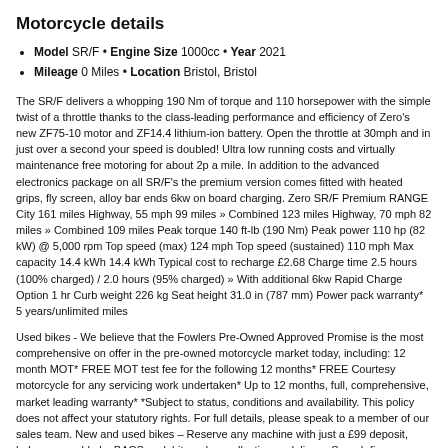Motorcycle details
Model SR/F • Engine Size 1000cc • Year 2021
Mileage 0 Miles • Location Bristol, Bristol
The SR/F delivers a whopping 190 Nm of torque and 110 horsepower with the simple twist of a throttle thanks to the class-leading performance and efficiency of Zero's new ZF75-10 motor and ZF14.4 lithium-ion battery. Open the throttle at 30mph and in just over a second your speed is doubled! Ultra low running costs and virtually maintenance free motoring for about 2p a mile. In addition to the advanced electronics package on all SR/F's the premium version comes fitted with heated grips, fly screen, alloy bar ends 6kw on board charging. Zero SR/F Premium RANGE City 161 miles Highway, 55 mph 99 miles » Combined 123 miles Highway, 70 mph 82 miles » Combined 109 miles Peak torque 140 ft-lb (190 Nm) Peak power 110 hp (82 kW) @ 5,000 rpm Top speed (max) 124 mph Top speed (sustained) 110 mph Max capacity 14.4 kWh 14.4 kWh Typical cost to recharge £2.68 Charge time 2.5 hours (100% charged) / 2.0 hours (95% charged) » With additional 6kw Rapid Charge Option 1 hr Curb weight 226 kg Seat height 31.0 in (787 mm) Power pack warranty* 5 years/unlimited miles
Used bikes - We believe that the Fowlers Pre-Owned Approved Promise is the most comprehensive on offer in the pre-owned motorcycle market today, including: 12 month MOT* FREE MOT test fee for the following 12 months* FREE Courtesy motorcycle for any servicing work undertaken* Up to 12 months, full, comprehensive, market leading warranty* *Subject to status, conditions and availability. This policy does not affect your statutory rights. For full details, please speak to a member of our sales team. New and used bikes – Reserve any machine with just a £99 deposit, balance payable by BACS or debit card on collection or delivery. Superb finance facilities available on all our motorcycle range and nationwide delivery also available. Please ask about what your part exchange is worth against any of our machines. Why not join us at our multi franchise site spread across five separate motorcycle showrooms, service centre, huge clothing and accessories store and award winning cafe? We are literally just a five minute walk from Bristol Temple Meads train station!!! Fowlers – for all your Motorcycling needs. Whilst every care is taken to ensure that our bike listings